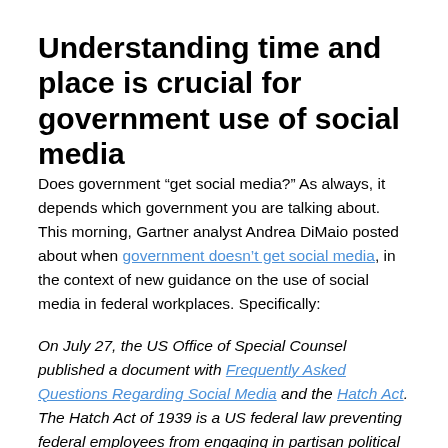Understanding time and place is crucial for government use of social media
Does government “get social media?” As always, it depends which government you are talking about. This morning, Gartner analyst Andrea DiMaio posted about when government doesn’t get social media, in the context of new guidance on the use of social media in federal workplaces. Specifically:
On July 27, the US Office of Special Counsel published a document with Frequently Asked Questions Regarding Social Media and the Hatch Act. The Hatch Act of 1939 is a US federal law preventing federal employees from engaging in partisan political activities.